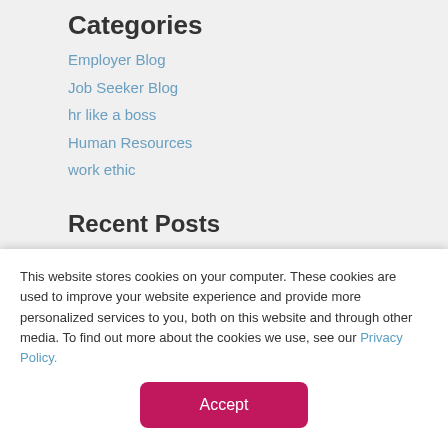Categories
Employer Blog
Job Seeker Blog
hr like a boss
Human Resources
work ethic
Recent Posts
How Much Do you Know About FLSA Regular Pay?
by Tammy Gillenwater posted at 10/22/21 1:32 PM
When it comes to payroll, one of the most common
This website stores cookies on your computer. These cookies are used to improve your website experience and provide more personalized services to you, both on this website and through other media. To find out more about the cookies we use, see our Privacy Policy.
Accept